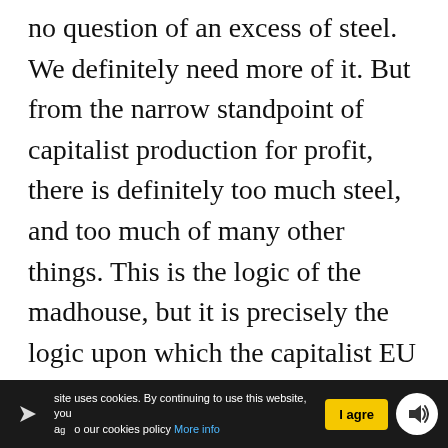no question of an excess of steel. We definitely need more of it. But from the narrow standpoint of capitalist production for profit, there is definitely too much steel, and too much of many other things. This is the logic of the madhouse, but it is precisely the logic upon which the capitalist EU works, and for that very reason, it can never work in the interests of the working class.
This site uses cookies. By continuing to use this website, you agree to our cookies policy More info | I agree